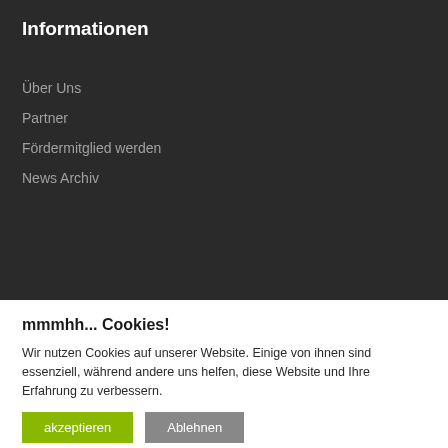Informationen
Über Uns
Partner
Fördermitglied werden
News Archiv
mmmhh... Cookies!
Wir nutzen Cookies auf unserer Website. Einige von ihnen sind essenziell, während andere uns helfen, diese Website und Ihre Erfahrung zu verbessern.
akzeptieren | Ablehnen